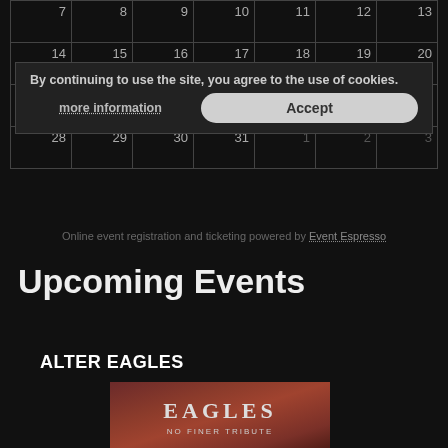|  |  |  |  |  |  |  |
| --- | --- | --- | --- | --- | --- | --- |
| 7 | 8 | 9 | 10 | 11 | 12 | 13 |
| 14 | 15 | 16 | 17 | 18 | 19 | 20 |
| 21 | 22 | 23 | 24 | 25 | 26 | 27 |
| 28 | 29 | 30 | 31 | 1 | 2 | 3 |
By continuing to use the site, you agree to the use of cookies.
more information   Accept
Online event registration and ticketing powered by Event Espresso
Upcoming Events
ALTER EAGLES
[Figure (photo): Eagles No Finer Tribute promotional image with red/brown background and the word EAGLES in large letters with subtitle NO FINER TRIBUTE]